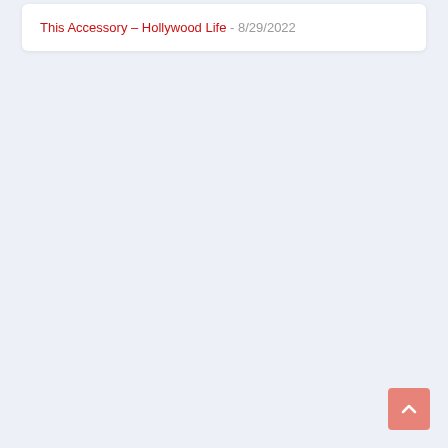This Accessory – Hollywood Life - 8/29/2022
[Figure (other): Back to top button arrow icon in salmon/coral color at bottom right corner]